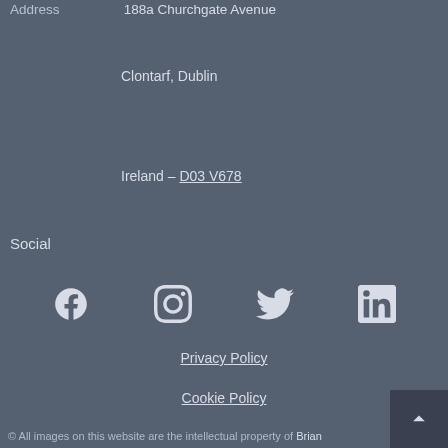Address    188a Churchgate Avenue
Clontarf, Dublin
Ireland – D03 V678
Social
[Figure (other): Social media icons: Facebook, Instagram, Twitter, LinkedIn]
Privacy Policy
Cookie Policy
© All images on this website are the intellectual property of Brian